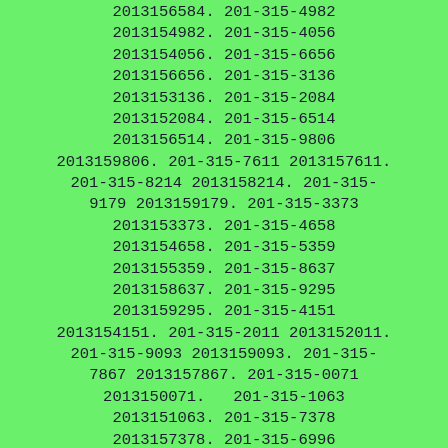2013156584. 201-315-4982 2013154982. 201-315-4056 2013154056. 201-315-6656 2013156656. 201-315-3136 2013153136. 201-315-2084 2013152084. 201-315-6514 2013156514. 201-315-9806 2013159806. 201-315-7611 2013157611. 201-315-8214 2013158214. 201-315-9179 2013159179. 201-315-3373 2013153373. 201-315-4658 2013154658. 201-315-5359 2013155359. 201-315-8637 2013158637. 201-315-9295 2013159295. 201-315-4151 2013154151. 201-315-2011 2013152011. 201-315-9093 2013159093. 201-315-7867 2013157867. 201-315-0071 2013150071.   201-315-1063 2013151063. 201-315-7378 2013157378. 201-315-6996 2013156996. 201-315-4260 2013154260. 201-315-8242 2013158242. 201-315-3762 2013153762. 201-315-3480